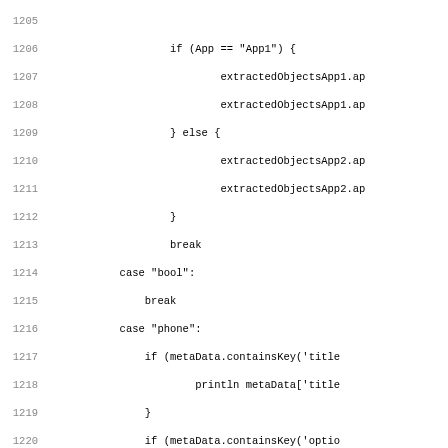Code listing lines 1205-1236+, showing Scala/Groovy source code with if/else/case/break logic for phone variable handling